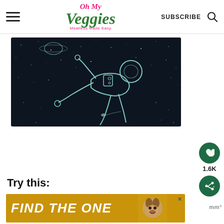Oh My Veggies — Meatless Made Easy | SUBSCRIBE
[Figure (illustration): Line art illustration of a floating astronaut in a dark starry space background, with a planet (Saturn-like) and a comet visible. The astronaut is drawn in teal/cyan outline style against a near-black background.]
1.6K
Try this:
[Figure (screenshot): Advertisement banner with yellow/gold background showing bold white italic text 'FIND THE ONE' with a dog photo on the right side and a close (x) button.]